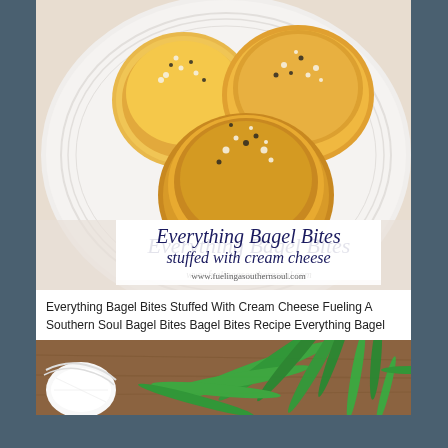[Figure (photo): Three golden stuffed bagel bites topped with everything bagel seasoning arranged on a white ribbed plate. Below the photo is an overlaid text box with dark navy serif text reading 'Everything Bagel Bites stuffed with cream cheese' and a URL www.fuelingasouthernsoul.com]
Everything Bagel Bites Stuffed With Cream Cheese Fueling A Southern Soul Bagel Bites Bagel Bites Recipe Everything Bagel
[Figure (photo): Partial view of a food photo showing fresh green dill herb on a wooden surface with what appears to be a white onion or garlic clove on the left edge]